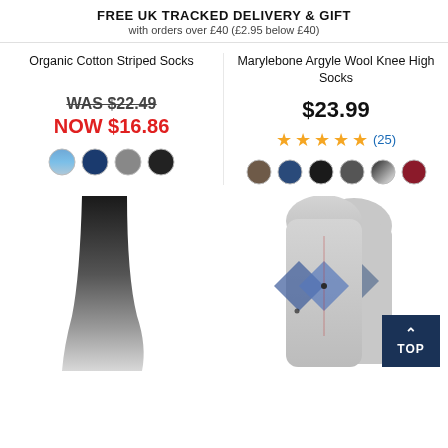FREE UK TRACKED DELIVERY & GIFT
with orders over £40 (£2.95 below £40)
Organic Cotton Striped Socks
WAS $22.49
NOW $16.86
Marylebone Argyle Wool Knee High Socks
$23.99
★★★★½ (25)
[Figure (photo): Black and grey gradient ombre socks product photo]
[Figure (photo): Grey argyle pattern socks product photo showing two socks]